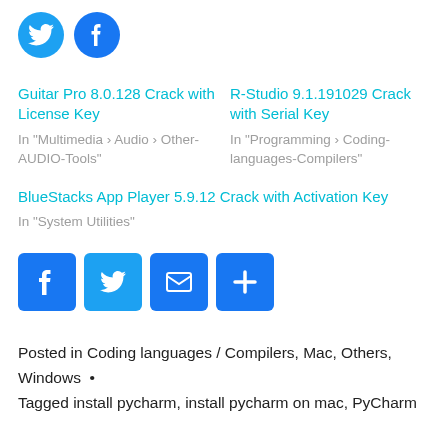[Figure (other): Two circular social media icons: Twitter (cyan) and Facebook (blue)]
Guitar Pro 8.0.128 Crack with License Key
In "Multimedia › Audio › Other-AUDIO-Tools"
R-Studio 9.1.191029 Crack with Serial Key
In "Programming › Coding-languages-Compilers"
BlueStacks App Player 5.9.12 Crack with Activation Key
In "System Utilities"
[Figure (other): Four square share buttons: Facebook (blue F), Twitter (cyan bird), Email (blue envelope), More/Plus (blue +)]
Posted in Coding languages / Compilers, Mac, Others, Windows  •
Tagged install pycharm, install pycharm on mac, PyCharm